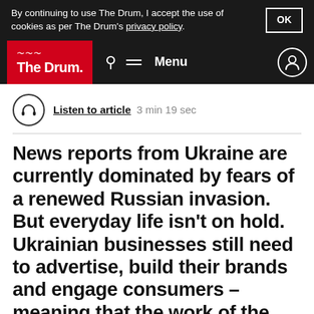By continuing to use The Drum, I accept the use of cookies as per The Drum's privacy policy.
The Drum — Menu navigation header
Listen to article  3 min 19 sec
News reports from Ukraine are currently dominated by fears of a renewed Russian invasion. But everyday life isn't on hold. Ukrainian businesses still need to advertise, build their brands and engage consumers – meaning that the work of the country's ad agencies hasn't